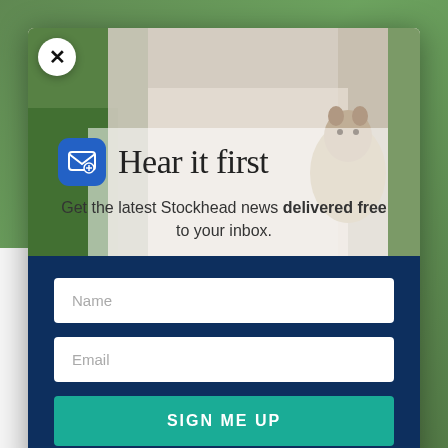[Figure (screenshot): Newsletter signup modal popup on Stockhead website. Shows a close button (X), an email icon, 'Hear it first' heading, subtitle text about getting Stockhead news delivered free, and a form with Name field, Email field, and Sign Me Up button on dark blue background.]
Hear it first
Get the latest Stockhead news delivered free to your inbox.
Name
Email
SIGN ME UP